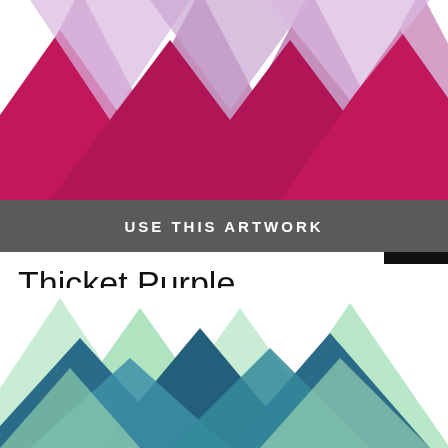[Figure (illustration): Geometric mountain/landscape illustration with purple and magenta triangular peaks pattern on white background, with a small diamond/download icon in the center]
[Figure (illustration): Dark bar with 'USE THIS ARTWORK' text in white bold caps, and a black search icon button on the right]
Thicket Purple
Anika Cook
Geometric  Landscape  Purple
[Figure (illustration): Geometric mountain/landscape illustration with teal, green, and mint triangular peaks layered pattern]